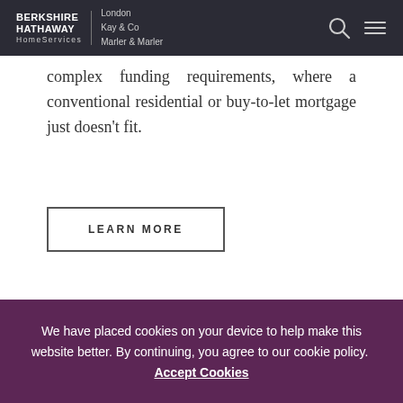BERKSHIRE HATHAWAY HomeServices | London Kay & Co Marler & Marler
complex funding requirements, where a conventional residential or buy-to-let mortgage just doesn't fit.
LEARN MORE
We have placed cookies on your device to help make this website better. By continuing, you agree to our cookie policy. Accept Cookies